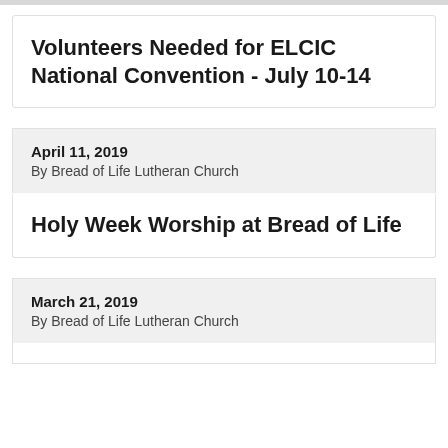Volunteers Needed for ELCIC National Convention - July 10-14
April 11, 2019
By Bread of Life Lutheran Church
Holy Week Worship at Bread of Life
March 21, 2019
By Bread of Life Lutheran Church